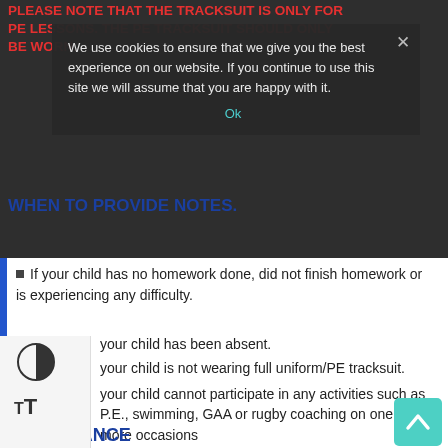PLEASE NOTE THAT THE TRACKSUIT IS ONLY FOR PE LESSONS. THE PE TRACKSUIT SHOULD ONLY BE WORN.
We use cookies to ensure that we give you the best experience on our website. If you continue to use this site we will assume that you are happy with it.
WHEN TO PROVIDE NOTES.
If your child has no homework done, did not finish homework or is experiencing any difficulty.
your child has been absent.
your child is not wearing full uniform/PE tracksuit.
your child cannot participate in any activities such as P.E., swimming, GAA or rugby coaching on one or more occasions
ATTENDANCE
Scoil Bhríde is obliged to and will submit a return to the NEWB (National Education Welfare Board) on those